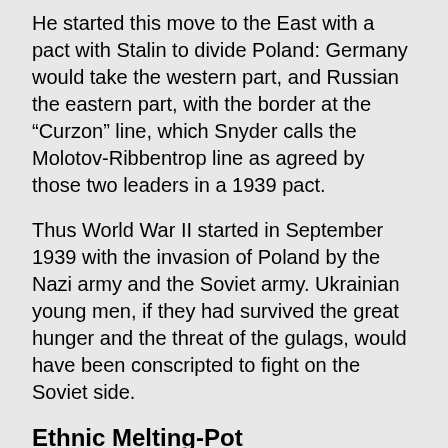He started this move to the East with a pact with Stalin to divide Poland: Germany would take the western part, and Russian the eastern part, with the border at the “Curzon” line, which Snyder calls the Molotov-Ribbentrop line as agreed by those two leaders in a 1939 pact.
Thus World War II started in September 1939 with the invasion of Poland by the Nazi army and the Soviet army. Ukrainian young men, if they had survived the great hunger and the threat of the gulags, would have been conscripted to fight on the Soviet side.
Ethnic Melting-Pot
It is important to understand the ethnic make-up of the populations of Eastern Europe at this time. People, especially if they have been living under Empires with growing cities, do not live in neat ethnically pure locations. There was a large Jewish population living in